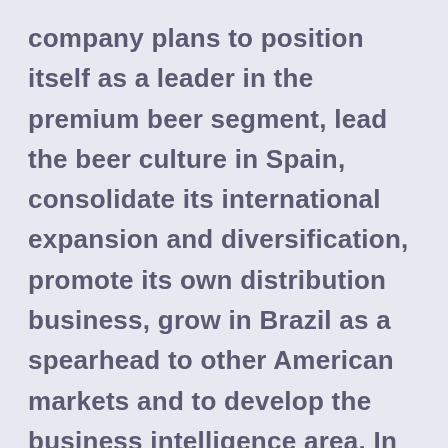company plans to position itself as a leader in the premium beer segment, lead the beer culture in Spain, consolidate its international expansion and diversification, promote its own distribution business, grow in Brazil as a spearhead to other American markets and to develop the business intelligence area. In recent years, the company has experienced an unprecedented upward trend and tripled results compared to just a decade ago, while positioning itself as one of the leaders in the ranking of Big Craft brewers worldwide. With the arrival of the Covid-19 pandemic in 2020, Hijos de Rivera resists